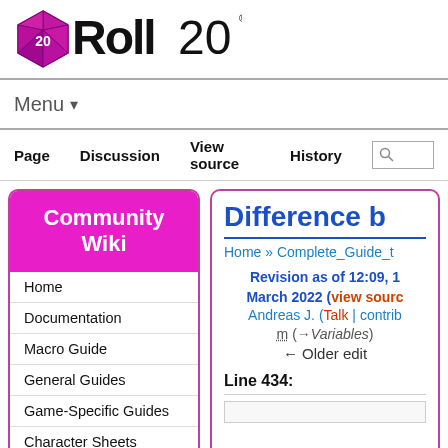[Figure (logo): Roll20 logo with pink icosahedron die and bold Roll20 text]
Menu ▾
Page   Discussion   View source   History
[Figure (screenshot): Community Wiki sidebar with links: Home, Documentation, Macro Guide, General Guides, Game-Specific Guides, Character Sheets, Tips & Tricks, Character Sheet Development]
Difference b...
Home » Complete_Guide_t...
Revision as of 12:09, 1 March 2022 (view source)
Andreas J. (Talk | contribs)
m (→Variables)
← Older edit
Line 434: